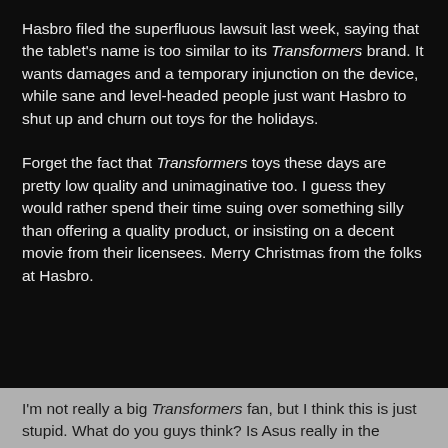Hasbro filed the superfluous lawsuit last week, saying that the tablet's name is too similar to its Transformers brand. It wants damages and a temporary injunction on the device, while sane and level-headed people just want Hasbro to shut up and churn out toys for the holidays.
Forget the fact that Transformers toys these days are pretty low quality and unimaginative too. I guess they would rather spend their time suing over something silly than offering a quality product, or insisting on a decent movie from their licensees. Merry Christmas from the folks at Hasbro.
I'm not really a big Transformers fan, but I think this is just stupid. What do you guys think? Is Asus really in the